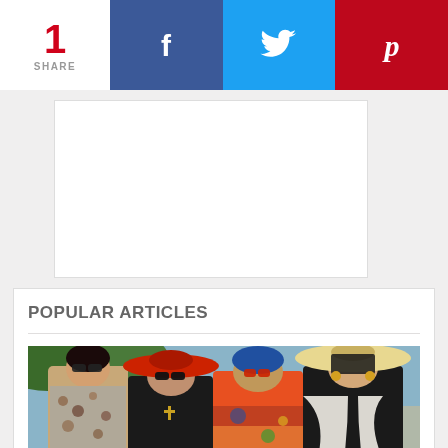1 SHARE
[Figure (screenshot): Facebook share button (dark blue with 'f' icon)]
[Figure (screenshot): Twitter share button (light blue with bird icon)]
[Figure (screenshot): Pinterest share button (dark red with 'p' icon)]
[Figure (photo): Advertisement placeholder (white box)]
POPULAR ARTICLES
[Figure (photo): Four stylish older women posing outdoors in colorful, eclectic outfits and large hats]
26 Stylish Seniors Who Refuse to Wear